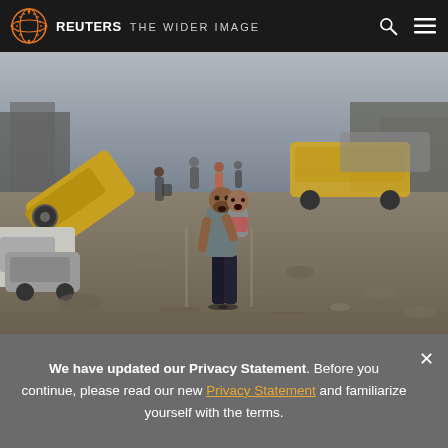REUTERS THE WIDER IMAGE
[Figure (photo): A man carrying a child runs through a war-damaged street with overturned and wrecked vehicles, rubble, and other people in the background, in what appears to be a conflict zone city.]
We have updated our Privacy Statement. Before you continue, please read our new Privacy Statement and familiarize yourself with the terms.